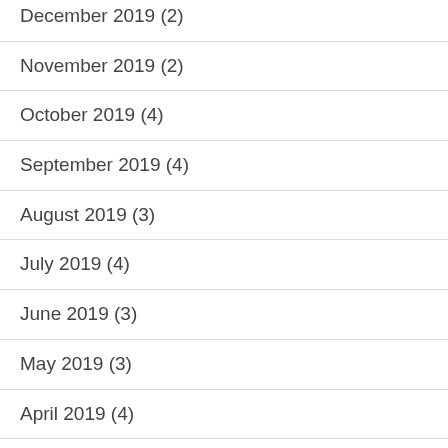December 2019 (2)
November 2019 (2)
October 2019 (4)
September 2019 (4)
August 2019 (3)
July 2019 (4)
June 2019 (3)
May 2019 (3)
April 2019 (4)
March 2019 (4)
February 2019 (3)
January 2019 (4)